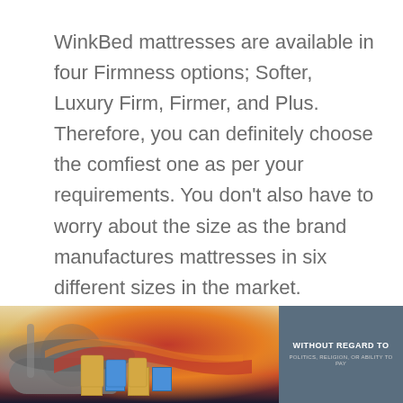WinkBed mattresses are available in four Firmness options; Softer, Luxury Firm, Firmer, and Plus. Therefore, you can definitely choose the comfiest one as per your requirements. You don't also have to worry about the size as the brand manufactures mattresses in six different sizes in the market.
[Figure (photo): Advertisement banner showing cargo being loaded onto an airliner with red and yellow livery, alongside a dark blue-gray panel with text 'WITHOUT REGARD TO' and smaller subtitle text.]